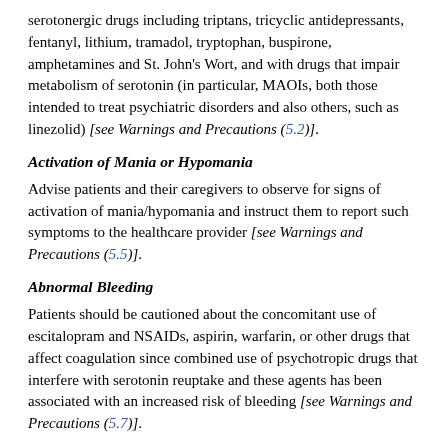serotonergic drugs including triptans, tricyclic antidepressants, fentanyl, lithium, tramadol, tryptophan, buspirone, amphetamines and St. John's Wort, and with drugs that impair metabolism of serotonin (in particular, MAOIs, both those intended to treat psychiatric disorders and also others, such as linezolid) [see Warnings and Precautions (5.2)].
Activation of Mania or Hypomania
Advise patients and their caregivers to observe for signs of activation of mania/hypomania and instruct them to report such symptoms to the healthcare provider [see Warnings and Precautions (5.5)].
Abnormal Bleeding
Patients should be cautioned about the concomitant use of escitalopram and NSAIDs, aspirin, warfarin, or other drugs that affect coagulation since combined use of psychotropic drugs that interfere with serotonin reuptake and these agents has been associated with an increased risk of bleeding [see Warnings and Precautions (5.7)].
Angle Closure Glaucoma
Patients should be advised that taking escitalopram can cause mild pupillary dilation, which in susceptible individuals, can lead to an episode of angle closure glaucoma. Pre-existing